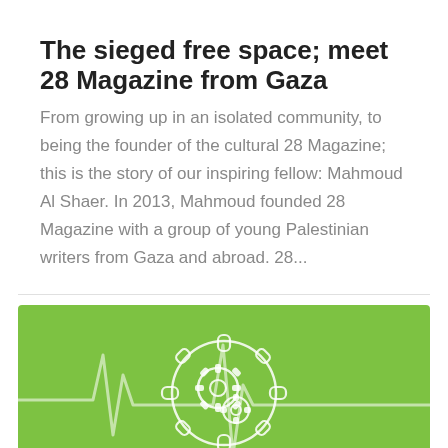The sieged free space; meet 28 Magazine from Gaza
From growing up in an isolated community, to being the founder of the cultural 28 Magazine; this is the story of our inspiring fellow: Mahmoud Al Shaer. In 2013, Mahmoud founded 28 Magazine with a group of young Palestinian writers from Gaza and abroad. 28...
[Figure (illustration): Green background card with a white heartbeat/EKG line and a white gear/settings icon in the center (a circular badge with smaller gears inside)]